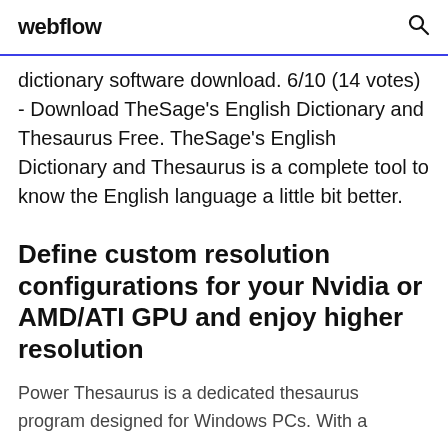webflow
dictionary software download. 6/10 (14 votes) - Download TheSage's English Dictionary and Thesaurus Free. TheSage's English Dictionary and Thesaurus is a complete tool to know the English language a little bit better.
Define custom resolution configurations for your Nvidia or AMD/ATI GPU and enjoy higher resolution
Power Thesaurus is a dedicated thesaurus program designed for Windows PCs. With a